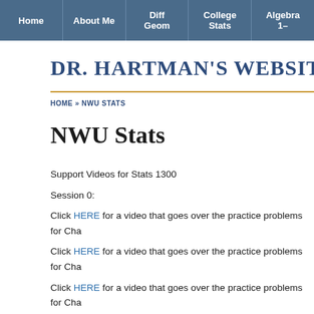Home | About Me | Diff Geom | College Stats | Algebra 1-
DR. HARTMAN'S WEBSITE
HOME » NWU STATS
NWU Stats
Support Videos for Stats 1300
Session 0:
Click HERE for a video that goes over the practice problems for Cha
Click HERE for a video that goes over the practice problems for Cha
Click HERE for a video that goes over the practice problems for Cha